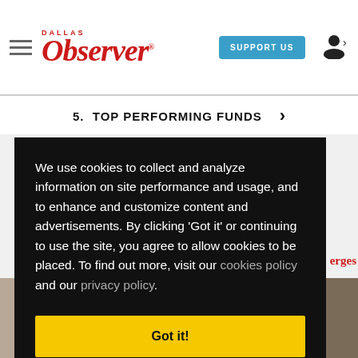Dallas Observer — SUPPORT US
5. TOP PERFORMING FUNDS
We use cookies to collect and analyze information on site performance and usage, and to enhance and customize content and advertisements. By clicking 'Got it' or continuing to use the site, you agree to allow cookies to be placed. To find out more, visit our cookies policy and our privacy policy.
Got it!